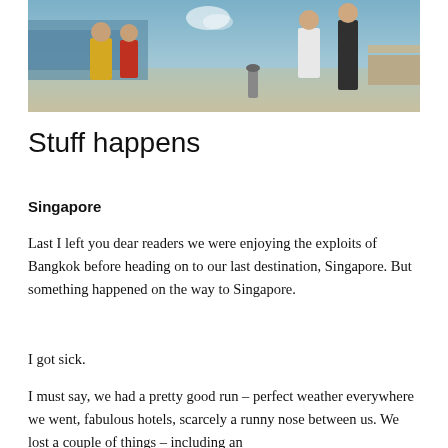[Figure (photo): Outdoor photo showing people near a water fountain or waterfront area in daylight. Several people visible, one wearing a yellow top, another in white. Water spray visible in the background.]
Stuff happens
Singapore
Last I left you dear readers we were enjoying the exploits of Bangkok before heading on to our last destination, Singapore. But something happened on the way to Singapore.
I got sick.
I must say, we had a pretty good run – perfect weather everywhere we went, fabulous hotels, scarcely a runny nose between us. We lost a couple of things – including an